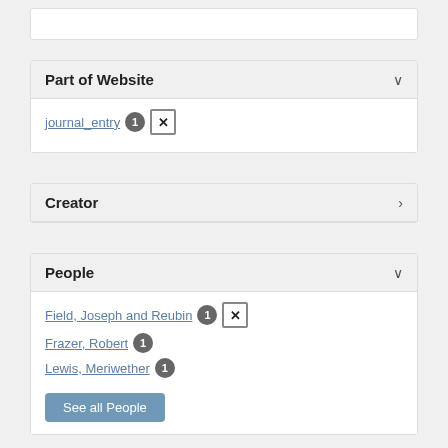Part of Website
journal_entry 1 ×
Creator
People
Field, Joseph and Reubin 1 ×
Frazer, Robert 1
Lewis, Meriwether 1
See all People